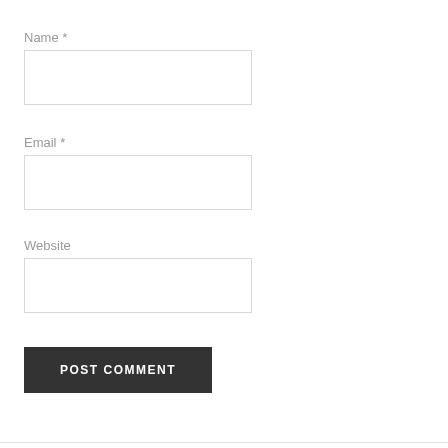Name *
Email *
Website
POST COMMENT